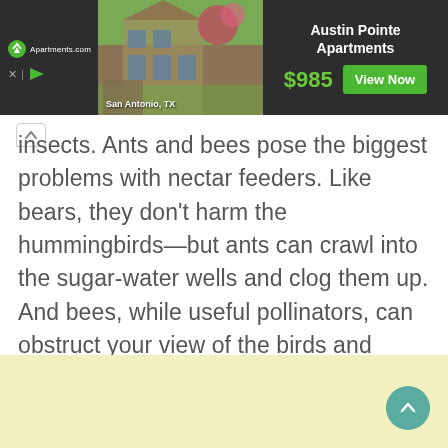[Figure (screenshot): Apartments.com advertisement banner for Austin Pointe Apartments in San Antonio, TX. Shows property photo, price $985, and 'View Now' button on dark background.]
insects. Ants and bees pose the biggest problems with nectar feeders. Like bears, they don't harm the hummingbirds—but ants can crawl into the sugar-water wells and clog them up. And bees, while useful pollinators, can obstruct your view of the birds and deliver painful stings.J